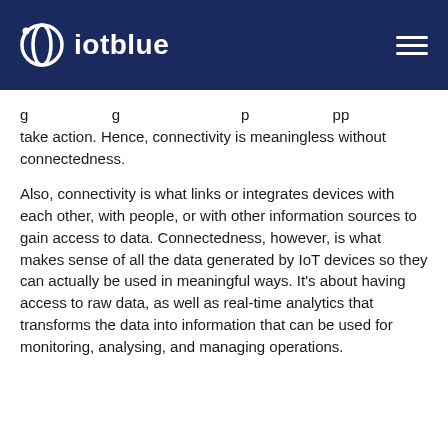iotblue
g g p pp take action. Hence, connectivity is meaningless without connectedness.
Also, connectivity is what links or integrates devices with each other, with people, or with other information sources to gain access to data. Connectedness, however, is what makes sense of all the data generated by IoT devices so they can actually be used in meaningful ways. It’s about having access to raw data, as well as real-time analytics that transforms the data into information that can be used for monitoring, analysing, and managing operations.